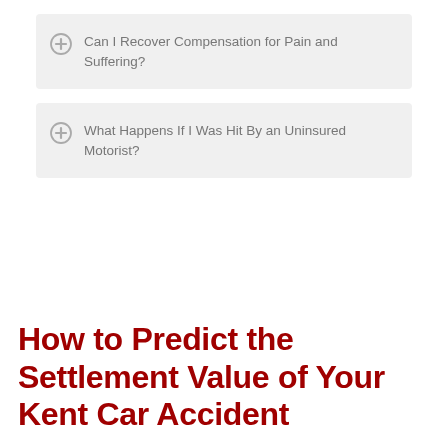Can I Recover Compensation for Pain and Suffering?
What Happens If I Was Hit By an Uninsured Motorist?
How to Predict the Settlement Value of Your Kent Car Accident